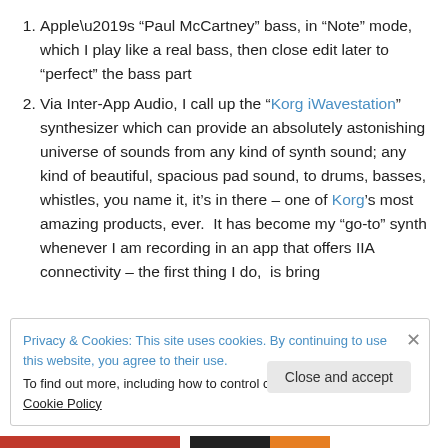Apple’s “Paul McCartney” bass, in “Note” mode, which I play like a real bass, then close edit later to “perfect” the bass part
Via Inter-App Audio, I call up the “Korg iWavestation” synthesizer which can provide an absolutely astonishing universe of sounds from any kind of synth sound; any kind of beautiful, spacious pad sound, to drums, basses, whistles, you name it, it’s in there – one of Korg’s most amazing products, ever.  It has become my “go-to” synth whenever I am recording in an app that offers IIA connectivity – the first thing I do, is bring
Privacy & Cookies: This site uses cookies. By continuing to use this website, you agree to their use.
To find out more, including how to control cookies, see here: Cookie Policy